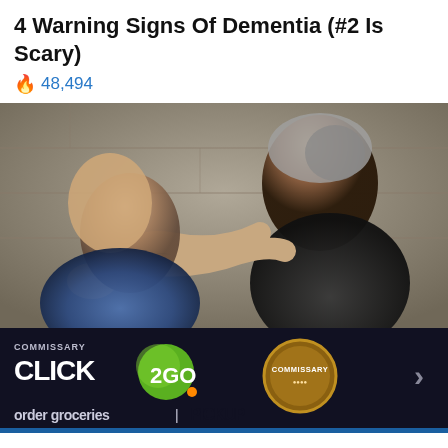4 Warning Signs Of Dementia (#2 Is Scary)
🔥 48,494
[Figure (photo): Two men in a physical altercation; one older grey-haired man gripping a younger man by the throat, pushing his head back, against a stone wall background.]
[Figure (photo): Advertisement banner for Commissary Click2Go service showing logo, green badge with '2GO', and commissary circular emblem. Bottom text reads 'order groceries | PICKUP'. A chevron arrow is on the right.]
Articles left: 4
Subscribe to get unlimited access Subscribe
Already have an account? Login here